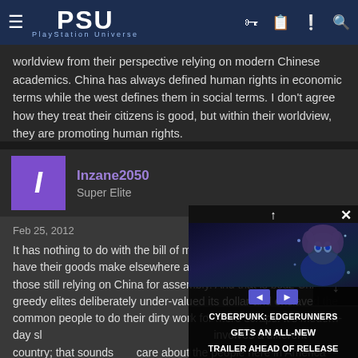PSU - PlayStation Universe
worldview from their perspective relying on modern Chinese academics. China has always defined human rights in economic terms while the west defines them in social terms. I don't agree how they treat their citizens is good, but within their worldview, they are promoting human rights.
Inzane2050
Super Elite
Feb 25, 2012  #11
It has nothing to do with the bill of materials. No one can afford to have their goods make elsewhere and still hope to compete with those still relying on China for assembly. And that is bcuz China's greedy elites deliberately under-valued its dollar and enslaved the common people to do their dirty work for mere scraps. It's modern-day slavery. I don't see how anyone can involves a different country; that sounds care about the people here in America and
[Figure (screenshot): Cyberpunk: Edgerunners anime advertisement overlay with video controls and text 'CYBERPUNK: EDGERUNNERS GETS AN ALL-NEW TRAILER AHEAD OF RELEASE']